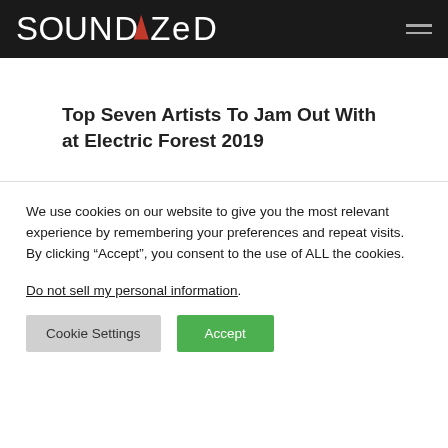SOUNDAZED
Top Seven Artists To Jam Out With at Electric Forest 2019
We use cookies on our website to give you the most relevant experience by remembering your preferences and repeat visits. By clicking “Accept”, you consent to the use of ALL the cookies.
Do not sell my personal information.
Cookie Settings   Accept